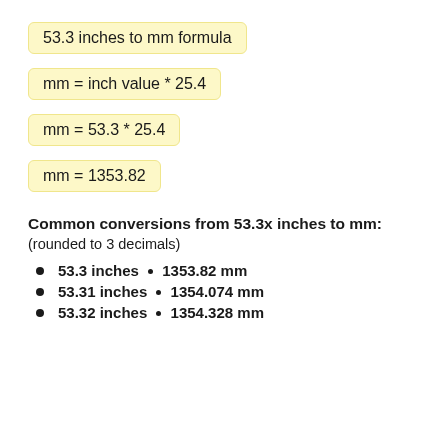Common conversions from 53.3x inches to mm:
(rounded to 3 decimals)
53.3 inches = 1353.82 mm
53.31 inches = 1354.074 mm
53.32 inches = 1354.328 mm